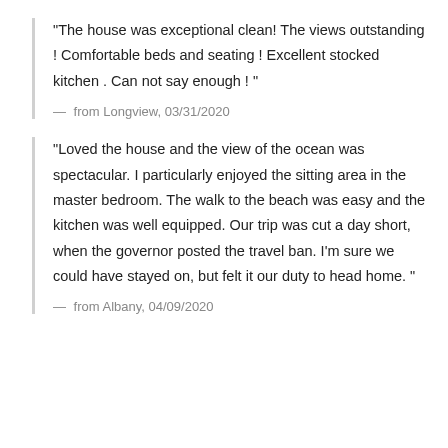"The house was exceptional clean! The views outstanding ! Comfortable beds and seating ! Excellent stocked kitchen . Can not say enough ! "
— from Longview, 03/31/2020
"Loved the house and the view of the ocean was spectacular. I particularly enjoyed the sitting area in the master bedroom. The walk to the beach was easy and the kitchen was well equipped. Our trip was cut a day short, when the governor posted the travel ban. I'm sure we could have stayed on, but felt it our duty to head home. "
— from Albany, 04/09/2020